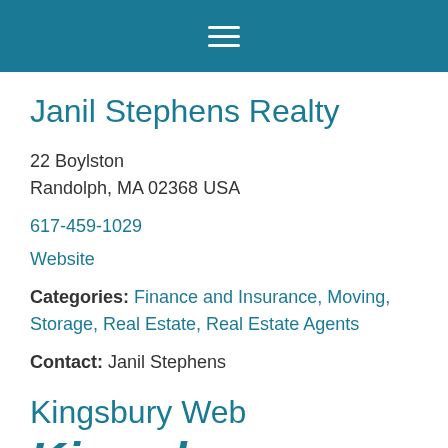≡ (hamburger menu icon)
Janil Stephens Realty
22 Boylston
Randolph, MA 02368 USA
617-459-1029
Website
Categories: Finance and Insurance, Moving, Storage, Real Estate, Real Estate Agents
Contact: Janil Stephens
Kingsbury Web